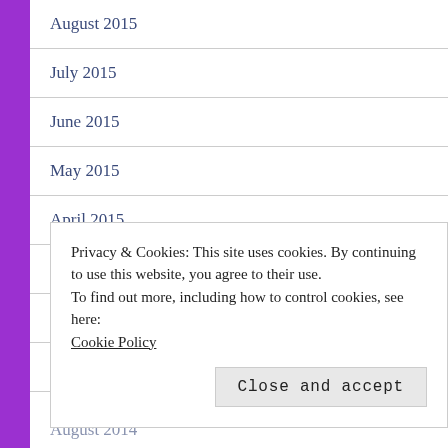August 2015
July 2015
June 2015
May 2015
April 2015
March 2015
February 2015
January 2015
December 2014
Privacy & Cookies: This site uses cookies. By continuing to use this website, you agree to their use.
To find out more, including how to control cookies, see here: Cookie Policy
August 2014